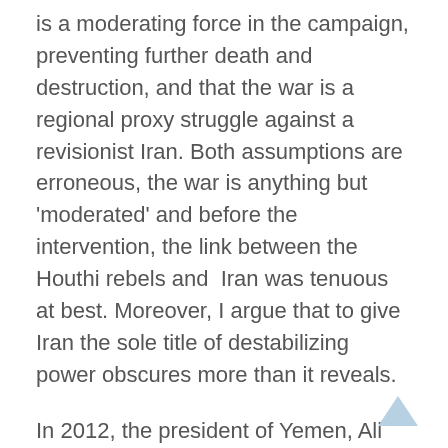is a moderating force in the campaign, preventing further death and destruction, and that the war is a regional proxy struggle against a revisionist Iran. Both assumptions are erroneous, the war is anything but 'moderated' and before the intervention, the link between the Houthi rebels and Iran was tenuous at best. Moreover, I argue that to give Iran the sole title of destabilizing power obscures more than it reveals.
In 2012, the president of Yemen, Ali Abdullah Saleh, resigned, handing over the power to his Deputy Abdrabbuh Mansur Hadi. This was not a smooth transition, and this failure led to the current unrest in Yemen. Moreover, the involvement of Saudi Arabia has created further instability in the country.